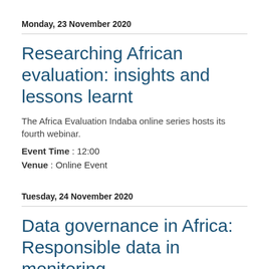Monday, 23 November 2020
Researching African evaluation: insights and lessons learnt
The Africa Evaluation Indaba online series hosts its fourth webinar.
Event Time : 12:00
Venue : Online Event
Tuesday, 24 November 2020
Data governance in Africa: Responsible data in monitoring